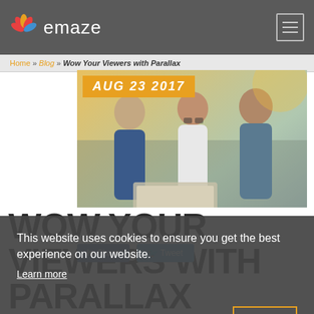emaze
Home » Blog » Wow Your Viewers with Parallax
AUG 23 2017
[Figure (photo): Three young people smiling and looking at a laptop outdoors]
This website uses cookies to ensure you get the best experience on our website.
Learn more
Got it!
WOW YOUR VIEWERS WITH PARALLAX